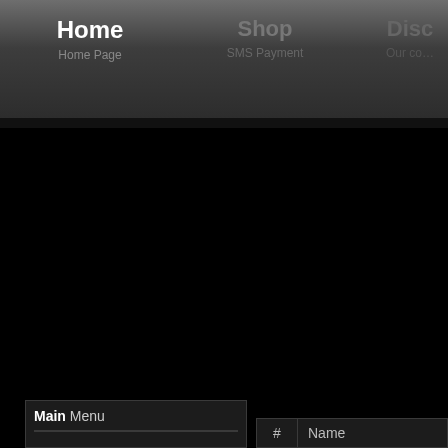Home | Home Page | Shop | SMS Payment | Disc... | Our com...
Main Menu
| # | Name |
| --- | --- |